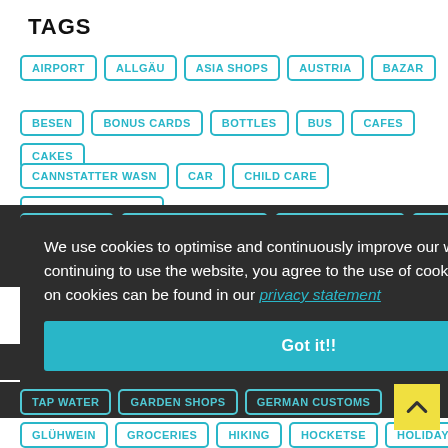TAGS
AIRPORT
ALLGÄU
ASIA SHOPS
AUSTRIA
BAZAR
BESEN
BONUS CARDS
BOTTLES
BUS
CAFES
CAKES
CANNSTATTER WASN
CAR
CHILD CARE
CHILDRENS HOTELS
We use cookies to optimise and continuously improve our website for you. By continuing to use the website, you agree to the use of cookies. Further information on cookies can be found in our privacy statement
Got it!!